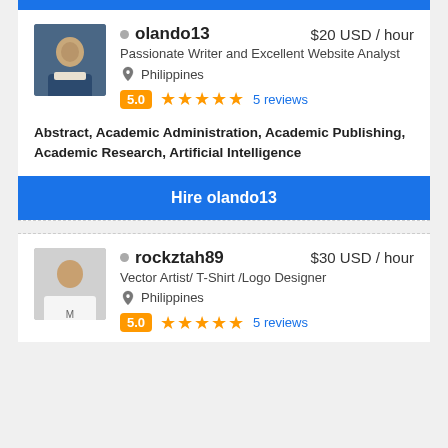[Figure (screenshot): Top blue bar element]
olando13   $20 USD / hour
Passionate Writer and Excellent Website Analyst
Philippines
5.0 ★★★★★ 5 reviews
Abstract, Academic Administration, Academic Publishing, Academic Research, Artificial Intelligence
Hire olando13
rockztah89   $30 USD / hour
Vector Artist/ T-Shirt /Logo Designer
Philippines
5.0 ★★★★★ 5 reviews